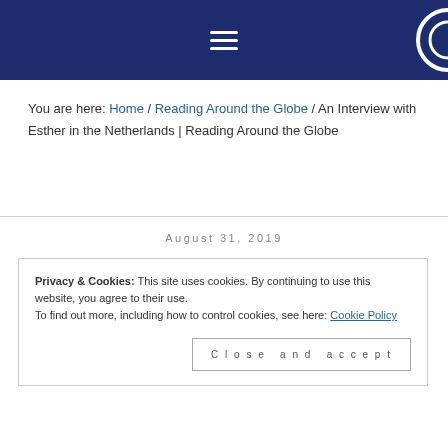Navigation bar with hamburger menu
You are here: Home / Reading Around the Globe / An Interview with Esther in the Netherlands | Reading Around the Globe
August 31, 2019
Privacy & Cookies: This site uses cookies. By continuing to use this website, you agree to their use.
To find out more, including how to control cookies, see here: Cookie Policy
Close and accept